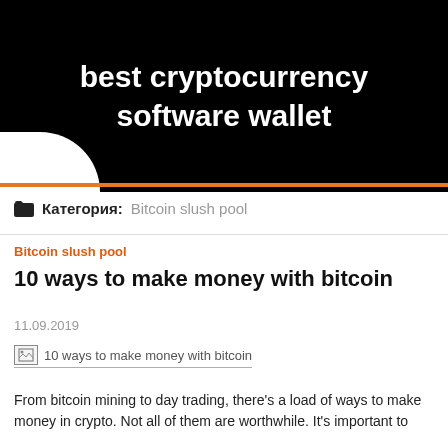best cryptocurrency software wallet
Категория: Bitcoin slush pool
Bitcoin slush pool
10 ways to make money with bitcoin
11.09.2019
[Figure (illustration): Broken image placeholder for '10 ways to make money with bitcoin']
From bitcoin mining to day trading, there's a load of ways to make money in crypto. Not all of them are worthwhile. It's important to